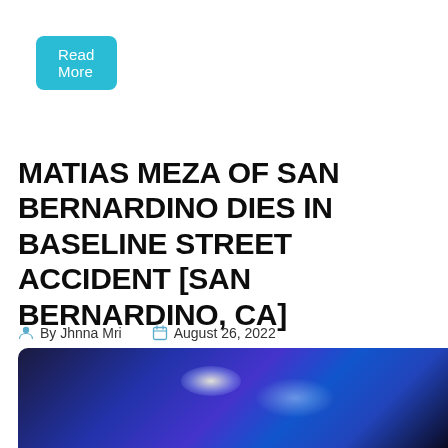Read More
MATIAS MEZA OF SAN BERNARDINO DIES IN BASELINE STREET ACCIDENT [SAN BERNARDINO, CA]
By Jhnna Mri   August 26, 2022
[Figure (photo): Dark blurry photo with blue police lights or emergency lighting at night]